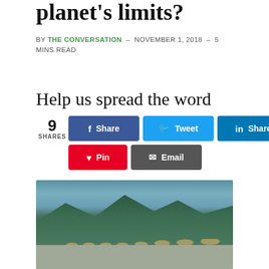planet's limits?
BY THE CONVERSATION – NOVEMBER 1, 2018 – 5 MINS READ
Help us spread the word
[Figure (infographic): Social sharing buttons: 9 SHARES, Facebook Share, Twitter Tweet, LinkedIn Share, Reddit Share, Pinterest Pin, Email]
[Figure (photo): Group of workers wearing traditional Vietnamese conical hats carrying baskets, walking along salt flats with mountains in background]